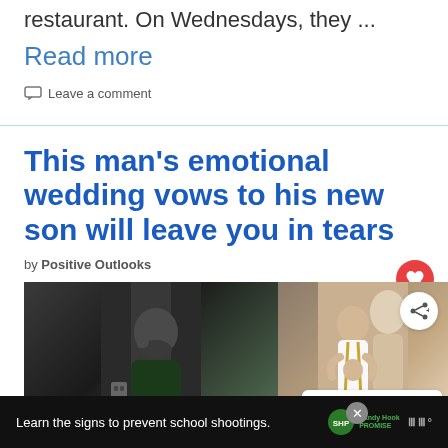restaurant. On Wednesdays, they ...
Read more
Leave a comment
This man's emotional wedding vows to his new son will leave you in tears
by Positive Outlooks
[Figure (photo): Two photos side by side: left shows a bearded man in a dark shirt, right shows an emotional embrace at a wedding with a child in suspenders]
WHAT'S NEXT → How to make sure that yo...
Learn the signs to prevent school shootings.